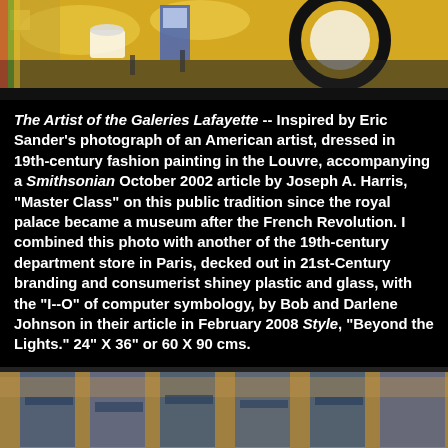[Figure (photo): Top portion of a colorful painting showing circular shapes, cups/containers and abstract forms in yellow, blue, black and multicolor tones]
The Artist of the Galeries Lafayette -- Inspired by Eric Sander's photograph of an American artist, dressed in 19th-century fashion painting in the Louvre, accompanying a Smithsonian October 2002 article by Joseph A. Harris, "Master Class" on this public tradition since the royal palace became a museum after the French Revolution. I combined this photo with another of the 19th-century department store in Paris, decked out in 21st-Century branding and consumerist shiney plastic and glass, with the "I--O" of computer symbology, by Bob and Darlene Johnson in their article in February 2008 Style, "Beyond the Lights." 24" X 36" or 60 X 90 cms.
[Figure (photo): Bottom portion of a painting showing blue and brown tones with abstract figures/shapes resembling an interior scene]